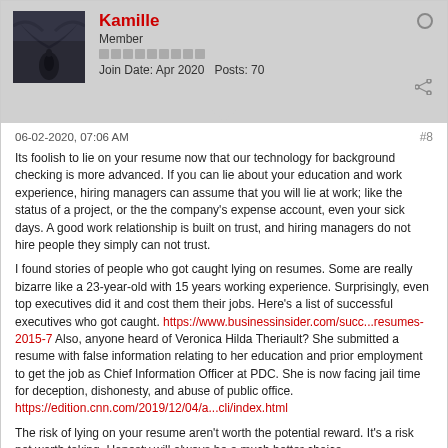[Figure (photo): Avatar image showing a fantasy/dark scene with a figure and large creature]
Kamille
Member
Join Date: Apr 2020   Posts: 70
06-02-2020, 07:06 AM
#8
Its foolish to lie on your resume now that our technology for background checking is more advanced. If you can lie about your education and work experience, hiring managers can assume that you will lie at work; like the status of a project, or the the company's expense account, even your sick days. A good work relationship is built on trust, and hiring managers do not hire people they simply can not trust.
I found stories of people who got caught lying on resumes. Some are really bizarre like a 23-year-old with 15 years working experience. Surprisingly, even top executives did it and cost them their jobs. Here's a list of successful executives who got caught. https://www.businessinsider.com/succ...resumes-2015-7 Also, anyone heard of Veronica Hilda Theriault? She submitted a resume with false information relating to her education and prior employment to get the job as Chief Information Officer at PDC. She is now facing jail time for deception, dishonesty, and abuse of public office.
https://edition.cnn.com/2019/12/04/a...cli/index.html
The risk of lying on your resume aren't worth the potential reward. It's a risk not worth taking. Honesty will always be a much better choice.